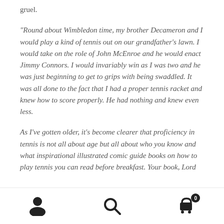gruel.
“Round about Wimbledon time, my brother Decameron and I would play a kind of tennis out on our grandfather’s lawn. I would take on the role of John McEnroe and he would enact Jimmy Connors. I would invariably win as I was two and he was just beginning to get to grips with being swaddled. It was all done to the fact that I had a proper tennis racket and knew how to score properly. He had nothing and knew even less.
As I’ve gotten older, it’s become clearer that proficiency in tennis is not all about age but all about who you know and what inspirational illustrated comic guide books on how to play tennis you can read before breakfast. Your book, Lord